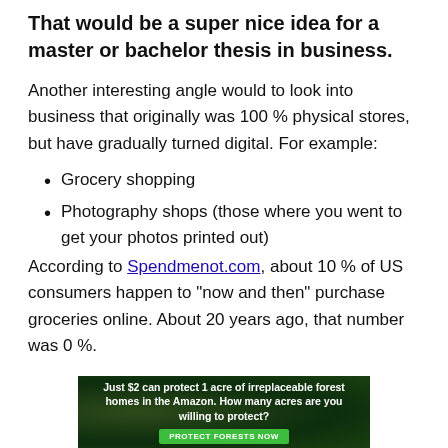That would be a super nice idea for a master or bachelor thesis in business.
Another interesting angle would to look into business that originally was 100 % physical stores, but have gradually turned digital. For example:
Grocery shopping
Photography shops (those where you went to get your photos printed out)
According to Spendmenot.com, about 10 % of US consumers happen to “now and then” purchase groceries online. About 20 years ago, that number was 0 %.
[Figure (photo): Advertisement banner with green forest background. Text reads: Just $2 can protect 1 acre of irreplaceable forest homes in the Amazon. How many acres are you willing to protect? Button: PROTECT FORESTS NOW]